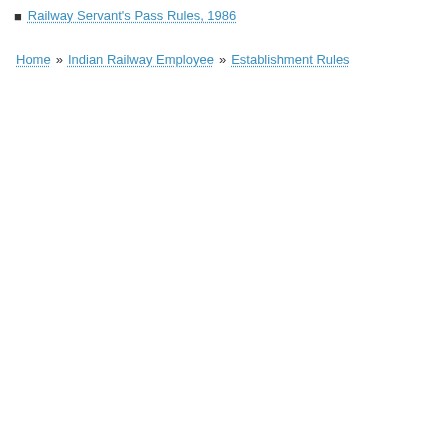Railway Servant's Pass Rules, 1986
Home » Indian Railway Employee » Establishment Rules